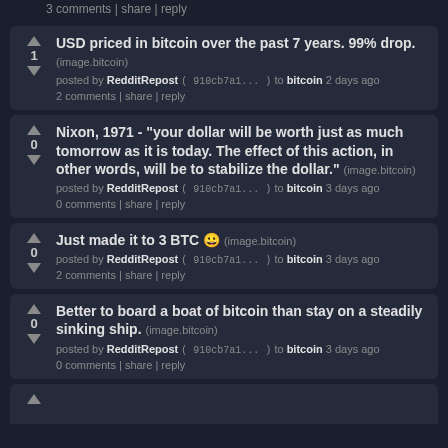3 comments | share | reply
USD priced in bitcoin over the past 7 years. 99% drop. (image.bitcoin) — posted by RedditRepost (910cb7a1...) to bitcoin 2 days ago — 2 comments | share | reply — votes: 1
Nixon, 1971 - "your dollar will be worth just as much tomorrow as it is today. The effect of this action, in other words, will be to stabilize the dollar." (image.bitcoin) — posted by RedditRepost (910cb7a1...) to bitcoin 3 days ago — 0 comments | share | reply — votes: 0
Just made it to 3 BTC 😊 (image.bitcoin) — posted by RedditRepost (910cb7a1...) to bitcoin 3 days ago — 2 comments | share | reply — votes: 0
Better to board a boat of bitcoin than stay on a steadily sinking ship. (image.bitcoin) — posted by RedditRepost (910cb7a1...) to bitcoin 3 days ago — 0 comments | share | reply — votes: 0